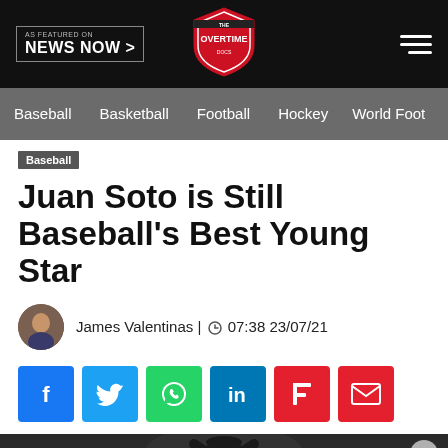AS FEATURED ON NEWS NOW > | OVERTIME | [menu]
Baseball  Basketball  Football  Hockey  World Foot...
Baseball
Juan Soto is Still Baseball's Best Young Star
James Valentinas | 07:38 23/07/21
[Figure (infographic): Social sharing icons: Facebook, Twitter, WhatsApp, LinkedIn, Flipboard, Email]
[Figure (photo): Dark photo of a baseball player holding a trophy aloft, viewed from below against a dark background]